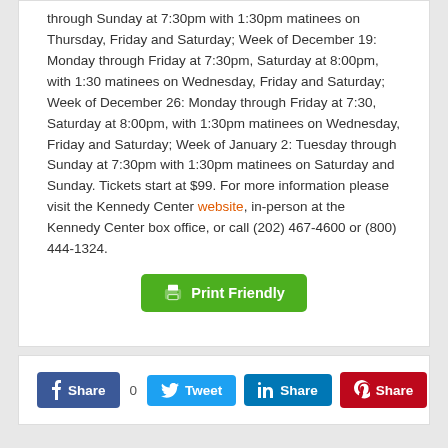through Sunday at 7:30pm with 1:30pm matinees on Thursday, Friday and Saturday; Week of December 19: Monday through Friday at 7:30pm, Saturday at 8:00pm, with 1:30 matinees on Wednesday, Friday and Saturday; Week of December 26: Monday through Friday at 7:30, Saturday at 8:00pm, with 1:30pm matinees on Wednesday, Friday and Saturday; Week of January 2: Tuesday through Sunday at 7:30pm with 1:30pm matinees on Saturday and Sunday. Tickets start at $99. For more information please visit the Kennedy Center website, in-person at the Kennedy Center box office, or call (202) 467-4600 or (800) 444-1324.
[Figure (other): Print Friendly green button]
[Figure (other): Social sharing buttons: Facebook Share (0), Twitter Tweet, LinkedIn Share, Pinterest Share]
« Previous